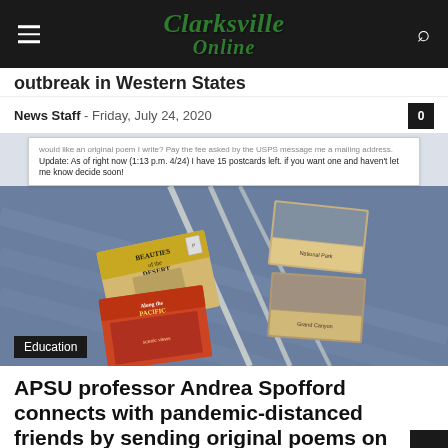Clarksville Online
outbreak in Western States
News Staff - Friday, July 24, 2020
would like an original poem I write? Pay the fee asked by the USPS message me a mailing address.
Update: As of right now (1:13 p.m. 4/24) I have 15 postcards left. if you want one and haven't let me know decide soon!
[Figure (photo): Photo of antique postcards laid out on a textured surface, including postcards labeled 'Beauties of the Desert' and 'Along the Pacific'. Above the photo is a social media post snippet.]
Education
APSU professor Andrea Spofford connects with pandemic-distanced friends by sending original poems on antique postcards